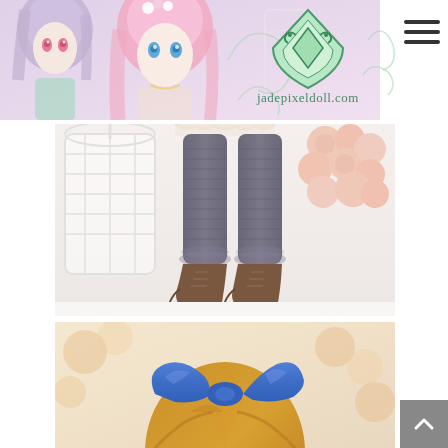[Figure (photo): Website header with two anime-style dolls (lavender and pink hair) on the left, and a green decorative heart/diamond logo with swirls labeled jadepixeldoll.com in the center-right area. A hamburger menu icon is in the top right.]
[Figure (photo): Close-up photo of doll legs wearing grey ribbed tights and brown ankle boots, with white decorative birdcage and pink roses in the background.]
[Figure (photo): Close-up photo of the back of a doll's head with a brown wig and a large royal blue satin bow/cat ear headband accessory, with a floral background.]